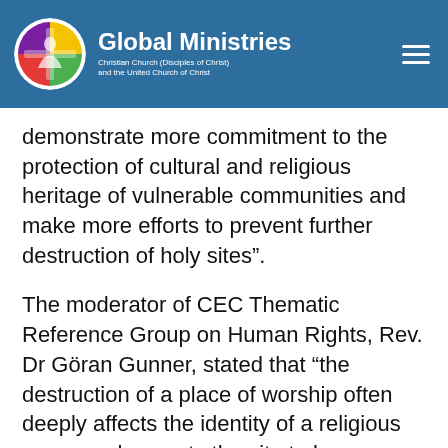Global Ministries — Christian Church (Disciples of Christ) and the United Church of Christ
demonstrate more commitment to the protection of cultural and religious heritage of vulnerable communities and make more efforts to prevent further destruction of holy sites”.
The moderator of CEC Thematic Reference Group on Human Rights, Rev. Dr Göran Gunner, stated that “the destruction of a place of worship often deeply affects the identity of a religious person, who wants the site to be preserved for the present and future